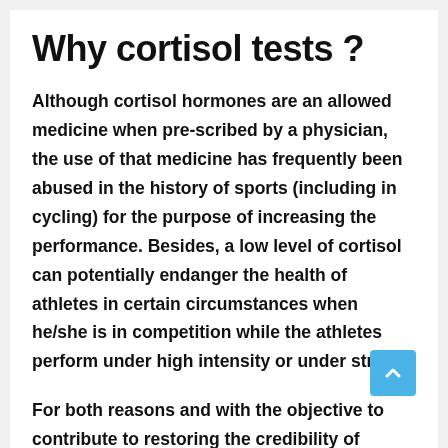Why cortisol tests ?
Although cortisol hormones are an allowed medicine when pre-scribed by a physician, the use of that medicine has frequently been abused in the history of sports (including in cycling) for the purpose of increasing the performance. Besides, a low level of cortisol can potentially endanger the health of athletes in certain circumstances when he/she is in competition while the athletes perform under high intensity or under stress.
For both reasons and with the objective to contribute to restoring the credibility of cycling, the Mouvement pour un Cyclisme Crédible and its member teams have introduced that voluntary